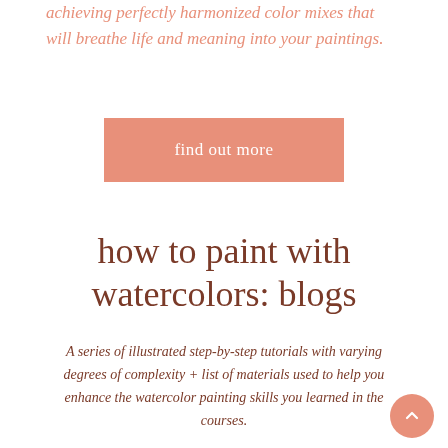achieving perfectly harmonized color mixes that will breathe life and meaning into your paintings.
find out more
how to paint with watercolors: blogs
A series of illustrated step-by-step tutorials with varying degrees of complexity + list of materials used to help you enhance the watercolor painting skills you learned in the courses.